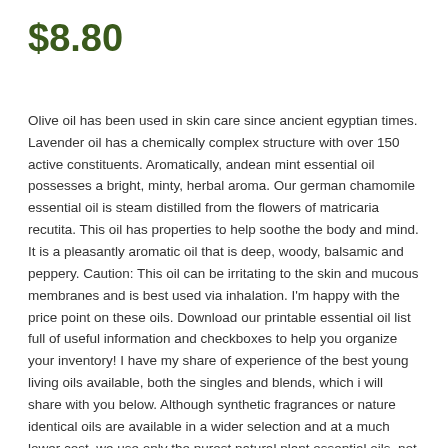$8.80
Olive oil has been used in skin care since ancient egyptian times. Lavender oil has a chemically complex structure with over 150 active constituents. Aromatically, andean mint essential oil possesses a bright, minty, herbal aroma. Our german chamomile essential oil is steam distilled from the flowers of matricaria recutita. This oil has properties to help soothe the body and mind. It is a pleasantly aromatic oil that is deep, woody, balsamic and peppery. Caution: This oil can be irritating to the skin and mucous membranes and is best used via inhalation. I'm happy with the price point on these oils. Download our printable essential oil list full of useful information and checkboxes to help you organize your inventory! I have my share of experience of the best young living oils available, both the singles and blends, which i will share with you below. Although synthetic fragrances or nature identical oils are available in a wider selection and at a much lower cost, we use only the purest natural plant essential oils, not those cut or adulterated with inferior oils or chemicals. If you'd prefer to purchase blends that are proven to be kid-safe, i recommend the kid-friendly lines a…